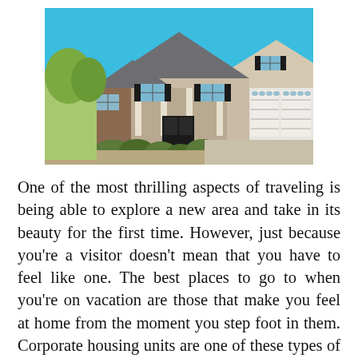[Figure (photo): Photograph of a large suburban house with beige/stone exterior, multiple garage doors, dark shutters, and a bright blue sky background. Landscaping with shrubs visible in front.]
One of the most thrilling aspects of traveling is being able to explore a new area and take in its beauty for the first time. However, just because you're a visitor doesn't mean that you have to feel like one. The best places to go to when you're on vacation are those that make you feel at home from the moment you step foot in them. Corporate housing units are one of these types of places, according to travel expert Brian